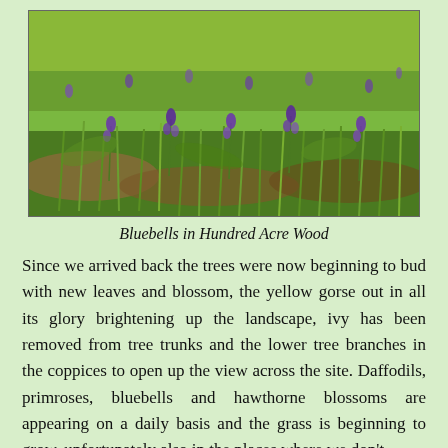[Figure (photo): Photograph of bluebells growing in a woodland floor with green grass and leaves, purple bell-shaped flowers visible throughout. Caption: Bluebells in Hundred Acre Wood]
Bluebells in Hundred Acre Wood
Since we arrived back the trees were now beginning to bud with new leaves and blossom, the yellow gorse out in all its glory brightening up the landscape, ivy has been removed from tree trunks and the lower tree branches in the coppices to open up the view across the site. Daffodils, primroses, bluebells and hawthorne blossoms are appearing on a daily basis and the grass is beginning to grow, unfortunately also in the places where we don't